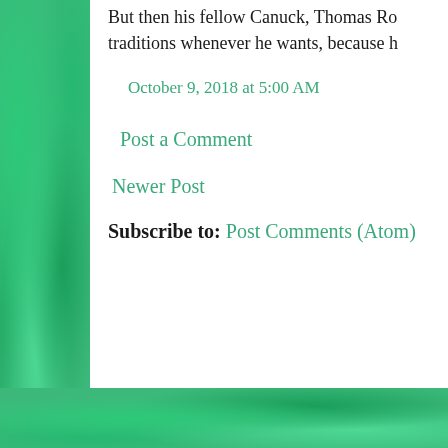But then his fellow Canuck, Thomas Ro… traditions whenever he wants, because h…
October 9, 2018 at 5:00 AM
Post a Comment
Newer Post
Subscribe to: Post Comments (Atom)